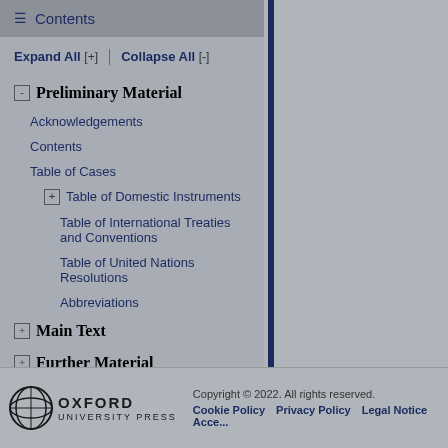Contents
Expand All [+] | Collapse All [-]
[-] Preliminary Material
Acknowledgements
Contents
Table of Cases
[+] Table of Domestic Instruments
Table of International Treaties and Conventions
Table of United Nations Resolutions
Abbreviations
[+] Main Text
[+] Further Material
Sign up for alerts
Copyright © 2022. All rights reserved. Cookie Policy Privacy Policy Legal Notice Acce...